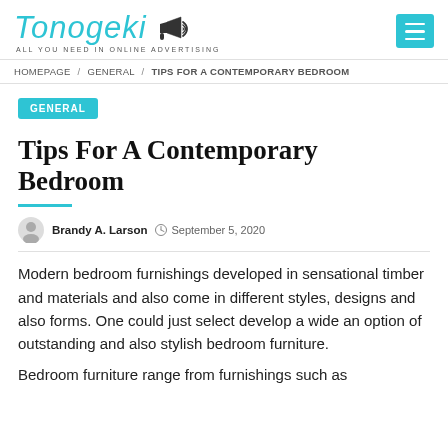Tonogeki — ALL YOU NEED IN ONLINE ADVERTISING
HOMEPAGE / GENERAL / TIPS FOR A CONTEMPORARY BEDROOM
GENERAL
Tips For A Contemporary Bedroom
Brandy A. Larson   September 5, 2020
Modern bedroom furnishings developed in sensational timber and materials and also come in different styles, designs and also forms. One could just select develop a wide an option of outstanding and also stylish bedroom furniture.
Bedroom furniture range from furnishings such as